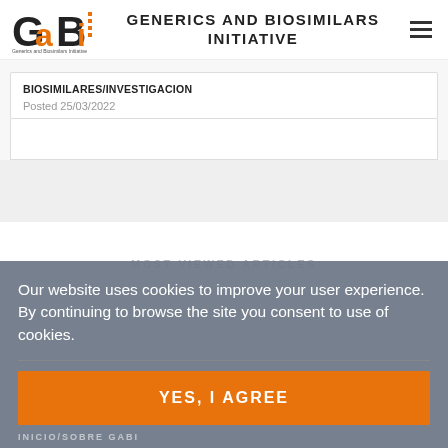GENERICS AND BIOSIMILARS INITIATIVE
BIOSIMILARES/INVESTIGACION
Posted 25/03/2022
Our website uses cookies to improve your user experience. By continuing to browse the site you consent to use of cookies.
MOST VIEWED ARTICLES
YES, I AGREE
INICIO/SOBRE GABI